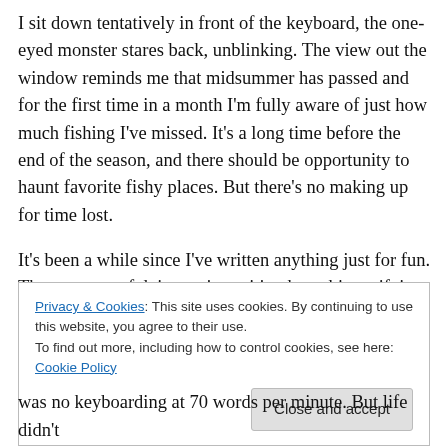I sit down tentatively in front of the keyboard, the one-eyed monster stares back, unblinking. The view out the window reminds me that midsummer has passed and for the first time in a month I'm fully aware of just how much fishing I've missed. It's a long time before the end of the season, and there should be opportunity to haunt favorite fishy places. But there's no making up for time lost.
It's been a while since I've written anything just for fun. The prospect of doing so is exciting but a bit terrifying. I've been challenged the last month or so by genetics that
Privacy & Cookies: This site uses cookies. By continuing to use this website, you agree to their use.
To find out more, including how to control cookies, see here: Cookie Policy
Close and accept
was no keyboarding at 70 words per minute. But life didn't